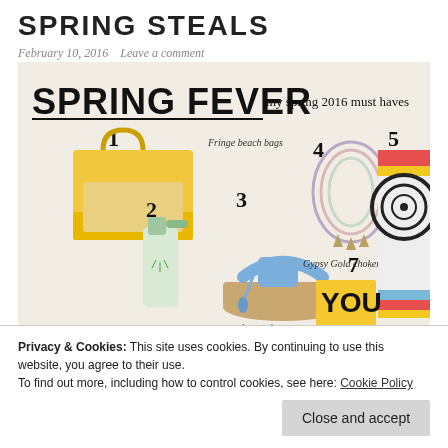SPRING STEALS
February 10, 2016   Leave a comment
[Figure (photo): Spring Fever collage showing: 1. Fringe beach bags (yellow fringe straw tote), 2. Spray bottle product, 3. Playful platform sandals (blue suede wedge), 4. Gypsy Gold chokers (beaded necklaces with charms), 5. Sexy beach towels (patterned round towel), 7. YOU text on yellow background. Labels: 'SPRING FEVER my spring 2016 must haves', numbered items 1-7 with handwritten-style labels.]
Privacy & Cookies: This site uses cookies. By continuing to use this website, you agree to their use.
To find out more, including how to control cookies, see here: Cookie Policy
Close and accept